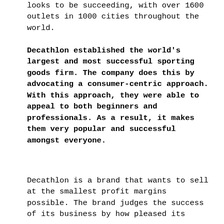looks to be succeeding, with over 1600 outlets in 1000 cities throughout the world.
Decathlon established the world's largest and most successful sporting goods firm. The company does this by advocating a consumer-centric approach. With this approach, they were able to appeal to both beginners and professionals. As a result, it makes them very popular and successful amongst everyone.
Decathlon is a brand that wants to sell at the smallest profit margins possible. The brand judges the success of its business by how pleased its